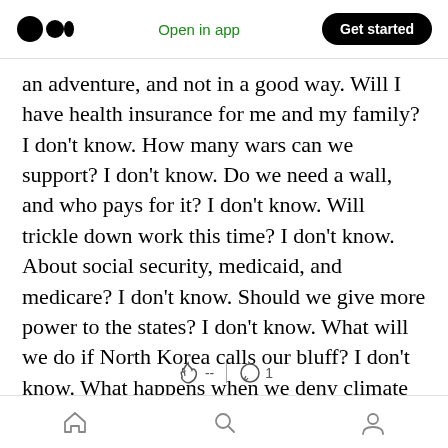Medium logo | Open in app | Get started
an adventure, and not in a good way. Will I have health insurance for me and my family? I don't know. How many wars can we support? I don't know. Do we need a wall, and who pays for it? I don't know. Will trickle down work this time? I don't know. About social security, medicaid, and medicare? I don't know. Should we give more power to the states? I don't know. What will we do if North Korea calls our bluff? I don't know. What happens when we deny climate change? I don't know. Wha  e world thinking, are they scared, are they worried? I
Home | Search | Profile